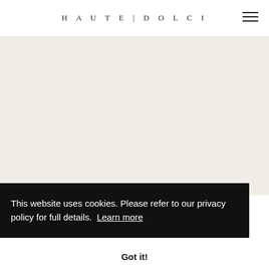HAUTE | DOLCI
[Figure (photo): Light-toned background image area — appears to show a blurred or minimal product photograph on a white/cream background.]
This website uses cookies. Please refer to our privacy policy for full details.  Learn more
Got it!